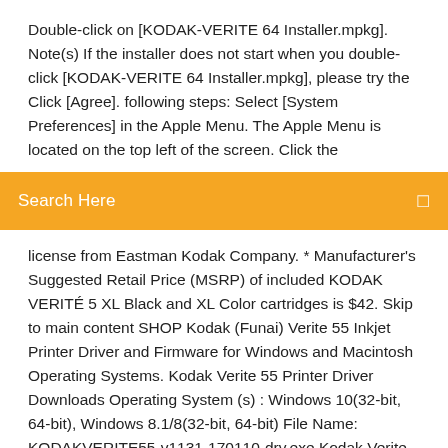Double-click on [KODAK-VERITE 64 Installer.mpkg]. Note(s) If the installer does not start when you double-click [KODAK-VERITE 64 Installer.mpkg], please try the Click [Agree]. following steps: Select [System Preferences] in the Apple Menu. The Apple Menu is located on the top left of the screen. Click the
[Figure (other): Orange search bar with 'Search Here' placeholder text and a search icon on the right]
license from Eastman Kodak Company. * Manufacturer's Suggested Retail Price (MSRP) of included KODAK VERITÉ 5 XL Black and XL Color cartridges is $42. Skip to main content SHOP Kodak (Funai) Verite 55 Inkjet Printer Driver and Firmware for Windows and Macintosh Operating Systems. Kodak Verite 55 Printer Driver Downloads Operating System (s) : Windows 10(32-bit, 64-bit), Windows 8.1/8(32-bit, 64-bit) File Name: KODAKVERITE55-v1131-170110-drv.exe Kodak Verite 55 Win 10 Driver Download (51.4MB) Kodak Verite 55 Win 8.1/8 Driver Download (51.1MB) Alternative Download link FUNAI KODAK